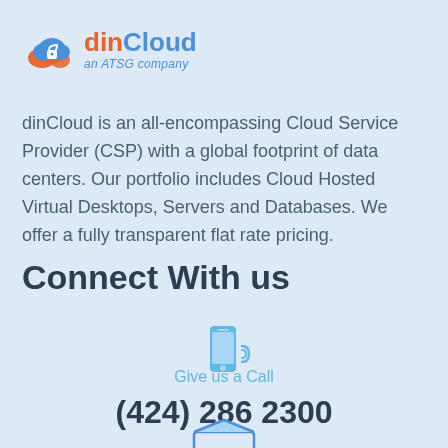[Figure (logo): dinCloud logo — orange cloud icon with blue lock, text 'dinCloud an ATSG company' in orange and blue]
dinCloud is an all-encompassing Cloud Service Provider (CSP) with a global footprint of data centers. Our portfolio includes Cloud Hosted Virtual Desktops, Servers and Databases. We offer a fully transparent flat rate pricing.
Connect With us
[Figure (illustration): Blue smartphone icon with signal/wifi arc on the right side]
Give us a Call
(424) 286 2300
[Figure (illustration): Blue envelope/email icon at bottom]